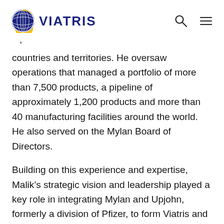VIATRIS
countries and territories. He oversaw operations that managed a portfolio of more than 7,500 products, a pipeline of approximately 1,200 products and more than 40 manufacturing facilities around the world. He also served on the Mylan Board of Directors.
Building on this experience and expertise, Malik's strategic vision and leadership played a key role in integrating Mylan and Upjohn, formerly a division of Pfizer, to form Viatris and he will play an integral role in driving the